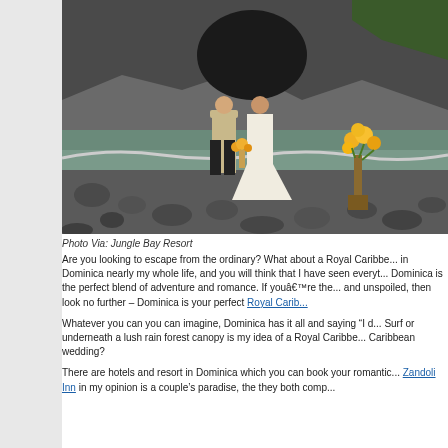[Figure (photo): Wedding couple standing on a rocky beach in front of a cave/cliff. Groom in tan jacket and dark pants, bride in white gown with a train. Yellow sunflowers in a vase beside them. Teal water visible in background.]
Photo Via: Jungle Bay Resort
Are you looking to escape from the ordinary? What about a Royal Caribbe... in Dominica nearly my whole life, and you will think that I have seen everyt... Dominica is the perfect blend of adventure and romance. If youâ€™re the... and unspoiled, then look no further – Dominica is your perfect Royal Carib...
Whatever you can you can imagine, Dominica has it all and saying “I d... Surf or underneath a lush rain forest canopy is my idea of a Royal Caribbe... Caribbean wedding?
There are hotels and resort in Dominica which you can book your romantic... Zandoli Inn in my opinion is a couple’s paradise, the they both comp...